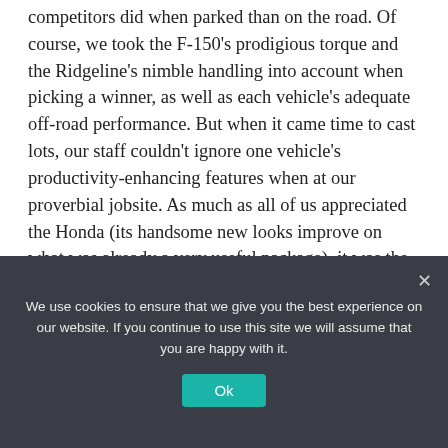competitors did when parked than on the road. Of course, we took the F-150's prodigious torque and the Ridgeline's nimble handling into account when picking a winner, as well as each vehicle's adequate off-road performance. But when it came time to cast lots, our staff couldn't ignore one vehicle's productivity-enhancing features when at our proverbial jobsite. As much as all of us appreciated the Honda (its handsome new looks improve on what was already a very useful package), it was the Ford F-150 that took top honors in this test.
We use cookies to ensure that we give you the best experience on our website. If you continue to use this site we will assume that you are happy with it.